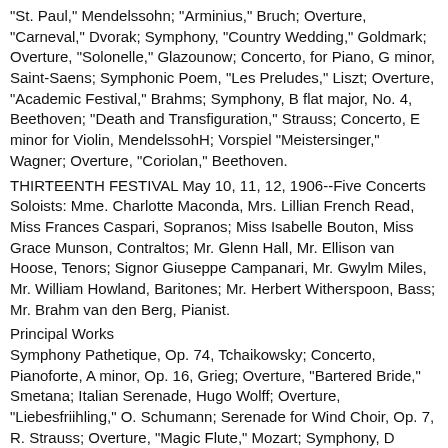"St. Paul," Mendelssohn; "Arminius," Bruch; Overture, "Carneval," Dvorak; Symphony, "Country Wedding," Goldmark; Overture, "Solonelle," Glazounow; Concerto, for Piano, G minor, Saint-Saens; Symphonic Poem, "Les Preludes," Liszt; Overture, "Academic Festival," Brahms; Symphony, B flat major, No. 4, Beethoven; "Death and Transfiguration," Strauss; Concerto, E minor for Violin, MendelssohH; Vorspiel "Meistersinger," Wagner; Overture, "Coriolan," Beethoven.
THIRTEENTH FESTIVAL May 10, 11, 12, 1906--Five Concerts
Soloists: Mme. Charlotte Maconda, Mrs. Lillian French Read, Miss Frances Caspari, Sopranos; Miss Isabelle Bouton, Miss Grace Munson, Contraltos; Mr. Glenn Hall, Mr. Ellison van Hoose, Tenors; Signor Giuseppe Campanari, Mr. Gwylm Miles, Mr. William Howland, Baritones; Mr. Herbert Witherspoon, Bass; Mr. Brahm van den Berg, Pianist.
Principal Works
Symphony Pathetique, Op. 74, Tchaikowsky; Concerto, Pianoforte, A minor, Op. 16, Grieg; Overture, "Bartered Bride," Smetana; Italian Serenade, Hugo Wolff; Overture, "Liebesfriihling," O. Schumann; Serenade for Wind Choir, Op. 7, R. Strauss; Overture, "Magic Flute," Mozart; Symphony, D major, Op. 73; Brahms, Suite in D, Bach; Overture, "Leonore, No. 3," Beethoven; "Stabat Mater," Dvorak; "A Psalm of Victory," Stanley; "Aida," Verdi; Overture, "Eurvanthe," von Weber.